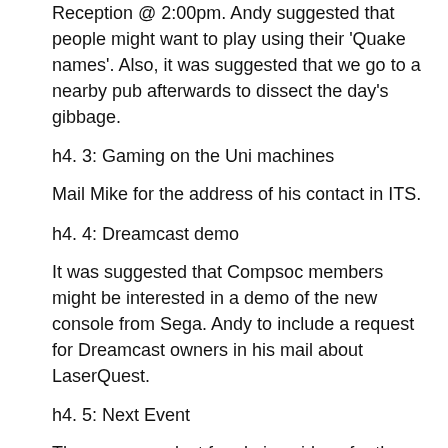Reception @ 2:00pm. Andy suggested that people might want to play using their 'Quake names'. Also, it was suggested that we go to a nearby pub afterwards to dissect the day's gibbage.
h4. 3: Gaming on the Uni machines
Mail Mike for the address of his contact in ITS.
h4. 4: Dreamcast demo
It was suggested that Compsoc members might be interested in a demo of the new console from Sega. Andy to include a request for Dreamcast owners in his mail about LaserQuest.
h4. 5: Next Event
The exec were lost for obvious ideas for the next social, but the following were suggested:
* Murder Mystery Weekend